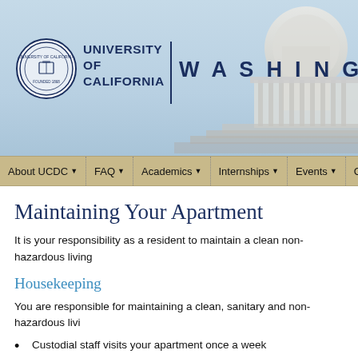[Figure (illustration): University of California Washington Program header banner with light blue background, UC seal logo, 'UNIVERSITY OF CALIFORNIA' text, vertical divider, 'WASHING' text (partially visible), and capitol building image on the right.]
About UCDC ▼  FAQ ▼  Academics ▼  Internships ▼  Events ▼
Maintaining Your Apartment
It is your responsibility as a resident to maintain a clean non-hazardous living
Housekeeping
You are responsible for maintaining a clean, sanitary and non-hazardous livi
Custodial staff visits your apartment once a week
It is your responsibility to clean and vacuum your bedroom and kee